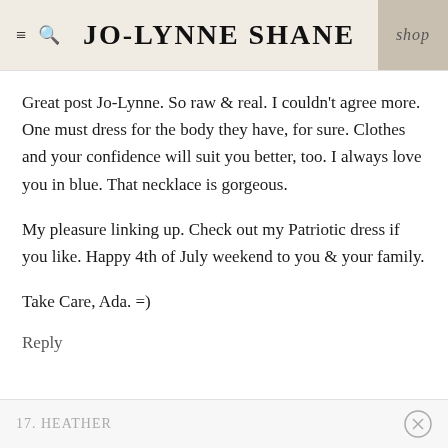JO-LYNNE SHANE  shop
Great post Jo-Lynne. So raw & real. I couldn't agree more. One must dress for the body they have, for sure. Clothes and your confidence will suit you better, too. I always love you in blue. That necklace is gorgeous.
My pleasure linking up. Check out my Patriotic dress if you like. Happy 4th of July weekend to you & your family.
Take Care, Ada. =)
Reply
17. HEATHER